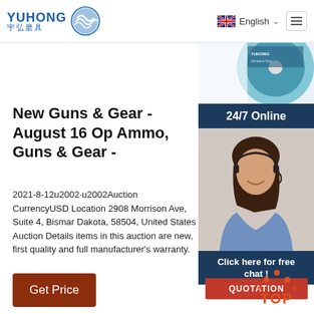[Figure (logo): YUHONG 宇弘磨具 logo with blue wave/globe icon]
[Figure (screenshot): Navigation bar with English language selector and hamburger menu button]
[Figure (photo): Partial image of abrasive cutting disc (turquoise/blue)]
24/7 Online
[Figure (photo): Customer service agent woman with headset, smiling]
Click here for free chat !
QUOTATION
New Guns & Gear - August 16 Op Ammo, Guns & Gear -
2021-8-12u2002·u2002Auction CurrencyUSD Location 2908 Morrison Ave, Suite 4, Bismar Dakota, 58504, United States Auction Details items in this auction are new, first quality and full manufacturer's warranty.
Get Price
[Figure (illustration): TOP button with orange/red dots above and orange text TOP]